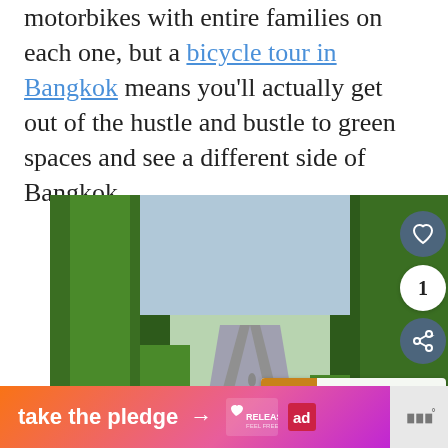motorbikes with entire families on each one, but a bicycle tour in Bangkok means you'll actually get out of the hustle and bustle to green spaces and see a different side of Bangkok.
[Figure (photo): Cyclists riding along a lush green tree-lined path, viewed from behind. A person in a green shirt and black helmet is prominent in the foreground, with several other cyclists visible further down the path. Green vegetation lines both sides of the paved road.]
[Figure (photo): Thumbnail image for 'What's Next' overlay showing decorative Thai statue/art]
WHAT'S NEXT → 5 cool things to do in...
take the pledge →